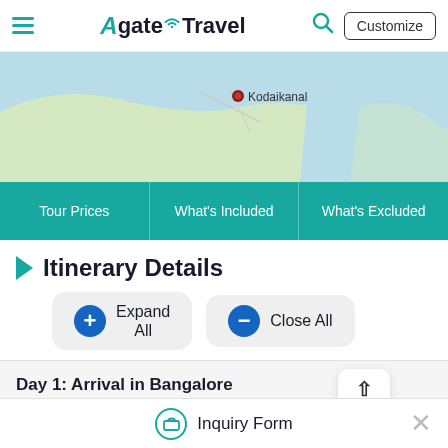Agate Travel — Customize
[Figure (map): Partial map showing Kodaikanal location with a red pin marker on a blue/green background map]
| Tour Prices | What's Included | What's Excluded |
| --- | --- | --- |
Itinerary Details
Expand All | Close All buttons
Day 1: Arrival in Bangalore
Today you will be at the airport in Bangalore. Our team will...
Inquiry Form